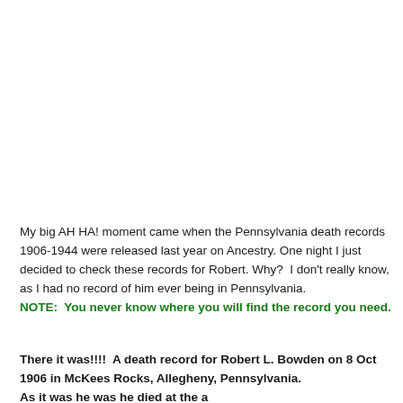My big AH HA! moment came when the Pennsylvania death records 1906-1944 were released last year on Ancestry. One night I just decided to check these records for Robert. Why?  I don't really know, as I had no record of him ever being in Pennsylvania.
NOTE:  You never know where you will find the record you need.
There it was!!!!  A death record for Robert L. Bowden on 8 Oct 1906 in McKees Rocks, Allegheny, Pennsylvania. As it was he was he died at the age of heart disease. Of